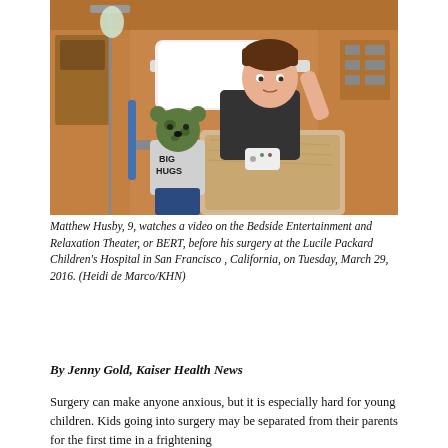[Figure (photo): A boy (Matthew Husby, 9) lying in a hospital bed holding a remote control device, with a stuffed bear wearing a 'BIG HUGS' shirt beside him, in a hospital room at Lucile Packard Children's Hospital.]
Matthew Husby, 9, watches a video on the Bedside Entertainment and Relaxation Theater, or BERT, before his surgery at the Lucile Packard Children's Hospital in San Francisco , California, on Tuesday, March 29, 2016. (Heidi de Marco/KHN)
By Jenny Gold, Kaiser Health News
Surgery can make anyone anxious, but it is especially hard for young children. Kids going into surgery may be separated from their parents for the first time in a frightening